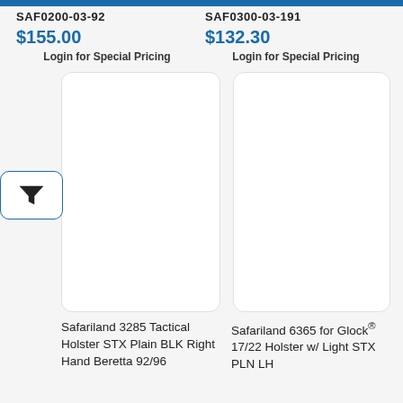SAF0200-03-92
$155.00
Login for Special Pricing
SAF0300-03-191
$132.30
Login for Special Pricing
[Figure (other): Product image placeholder card for Safariland 3285 Tactical Holster, white rounded rectangle]
[Figure (other): Product image placeholder card for Safariland 6365 Holster, white rounded rectangle]
Safariland 3285 Tactical Holster STX Plain BLK Right Hand Beretta 92/96
Safariland 6365 for Glock® 17/22 Holster w/ Light STX PLN LH